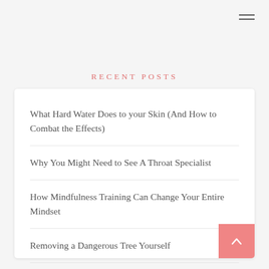RECENT POSTS
What Hard Water Does to your Skin (And How to Combat the Effects)
Why You Might Need to See A Throat Specialist
How Mindfulness Training Can Change Your Entire Mindset
Removing a Dangerous Tree Yourself
How to Pick a Plastic Surgeon